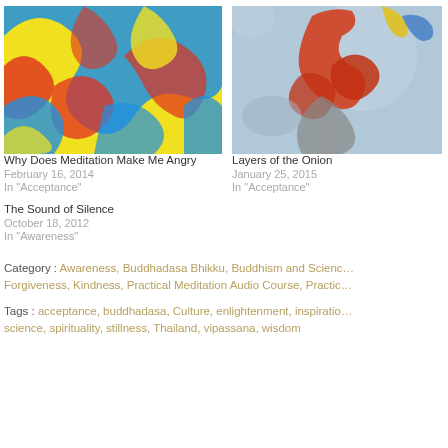[Figure (illustration): Abstract colorful painting with swirling blue, yellow, red shapes — left thumbnail image]
[Figure (illustration): Expressionist painting of a hand or figure in red and orange tones — right thumbnail image]
Why Does Meditation Make Me Angry
February 16, 2014
In "Acceptance"
Layers of the Onion
January 25, 2015
In "Acceptance"
The Sound of Silence
October 18, 2012
In "Awareness"
Category : Awareness, Buddhadasa Bhikku, Buddhism and Science, Forgiveness, Kindness, Practical Meditation Audio Course, Practic…
Tags : acceptance, buddhadasa, Culture, enlightenment, inspiration, science, spirituality, stillness, Thailand, vipassana, wisdom